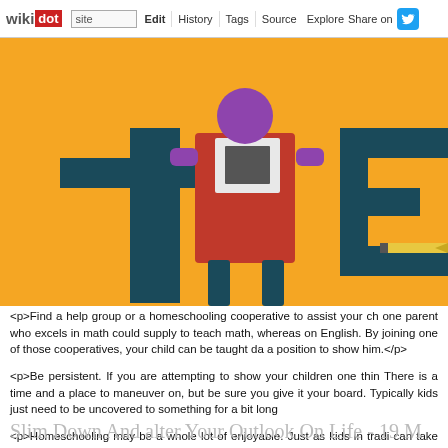wikidot | site | Edit | History | Tags | Source | Explore | Share on Twitter
[Figure (illustration): Colorful flat-design illustration of a teacher figure (purple, red, dark teal) in front of a yellow background with large dark teal letter forms suggesting 'THE']
<p>Find a help group or a homeschooling cooperative to assist your child. one parent who excels in math could supply to teach math, whereas on English. By joining one of those cooperatives, your child can be taught da a position to show him.</p>
<p>Be persistent. If you are attempting to show your children one thin There is a time and a place to maneuver on, but be sure you give it your board. Typically kids just need to be uncovered to something for a bit long</p>
<p>Homeschooling may be a whole lot of enjoyable. Just as kids in tradi can take your little one on discipline journeys. This is a great time to att them issues they wouldn't essentially study with a large group. It give expertise.</p>
<p>We hope the information we now have offered will provide you with education. You'll be doing your youngsters a favor by homeschooling the may have ever had. If you utilize what you've read right here, then you m education. They do not deserve anything lower than that.</p> - Comment
Slim Down And alter Your Outlook On Life - 19 M